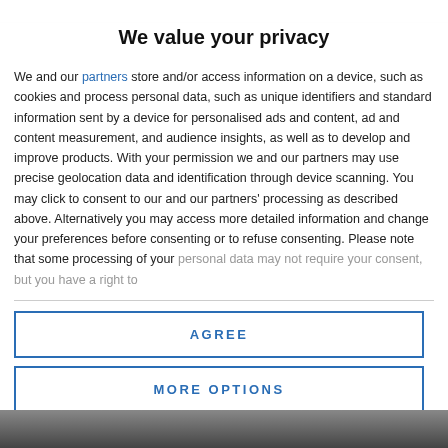We value your privacy
We and our partners store and/or access information on a device, such as cookies and process personal data, such as unique identifiers and standard information sent by a device for personalised ads and content, ad and content measurement, and audience insights, as well as to develop and improve products. With your permission we and our partners may use precise geolocation data and identification through device scanning. You may click to consent to our and our partners' processing as described above. Alternatively you may access more detailed information and change your preferences before consenting or to refuse consenting. Please note that some processing of your personal data may not require your consent, but you have a right to
AGREE
MORE OPTIONS
[Figure (photo): Bottom strip showing a partial photo at the bottom of the page]